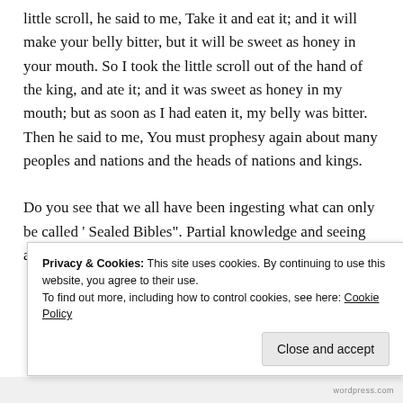little scroll, he said to me, Take it and eat it; and it will make your belly bitter, but it will be sweet as honey in your mouth. So I took the little scroll out of the hand of the king, and ate it; and it was sweet as honey in my mouth; but as soon as I had eaten it, my belly was bitter. Then he said to me, You must prophesy again about many peoples and nations and the heads of nations and kings.
Do you see that we all have been ingesting what can only be called ‘ Sealed Bibles”. Partial knowledge and seeing and
Privacy & Cookies: This site uses cookies. By continuing to use this website, you agree to their use.
To find out more, including how to control cookies, see here: Cookie Policy